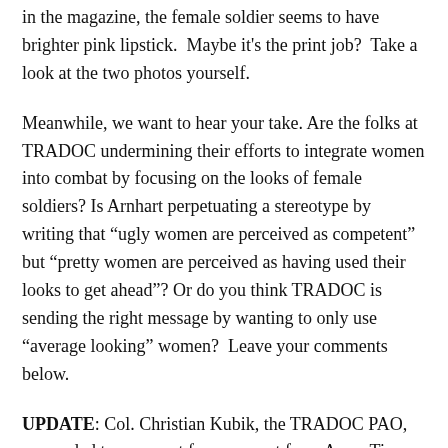in the magazine, the female soldier seems to have brighter pink lipstick.  Maybe it's the print job?  Take a look at the two photos yourself.
Meanwhile, we want to hear your take. Are the folks at TRADOC undermining their efforts to integrate women into combat by focusing on the looks of female soldiers? Is Arnhart perpetuating a stereotype by writing that “ugly women are perceived as competent” but “pretty women are perceived as having used their looks to get ahead”? Or do you think TRADOC is sending the right message by wanting to only use “average looking” women?  Leave your comments below.
UPDATE: Col. Christian Kubik, the TRADOC PAO, responded to a request for comment from Army Times. Kubik is the PAO who forwarded Arnhart’s email to other TRADOC spokespersons.